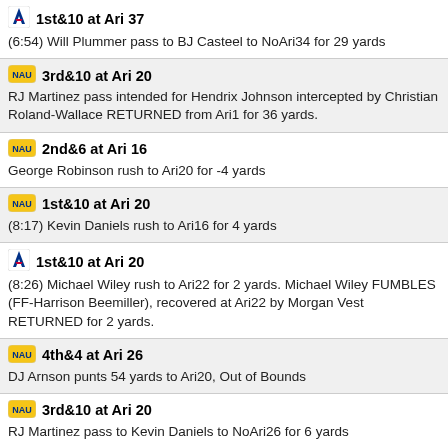1st&10 at Ari 37 — (6:54) Will Plummer pass to BJ Casteel to NoAri34 for 29 yards
3rd&10 at Ari 20 — RJ Martinez pass intended for Hendrix Johnson intercepted by Christian Roland-Wallace RETURNED from Ari1 for 36 yards.
2nd&6 at Ari 16 — George Robinson rush to Ari20 for -4 yards
1st&10 at Ari 20 — (8:17) Kevin Daniels rush to Ari16 for 4 yards
1st&10 at Ari 20 — (8:26) Michael Wiley rush to Ari22 for 2 yards. Michael Wiley FUMBLES (FF-Harrison Beemiller), recovered at Ari22 by Morgan Vest RETURNED for 2 yards.
4th&4 at Ari 26 — DJ Arnson punts 54 yards to Ari20, Out of Bounds
3rd&10 at Ari 20 — RJ Martinez pass to Kevin Daniels to NoAri26 for 6 yards
2nd&10 at Ari 20 — Kevin Daniels rush to NoAri20 for no gain
1st&10 at Ari 20